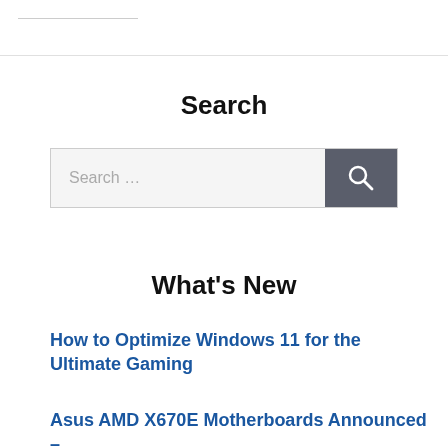Search
[Figure (other): Search input box with a text field placeholder 'Search …' and a dark grey search button with a magnifying glass icon]
What's New
How to Optimize Windows 11 for the Ultimate Gaming
Asus AMD X670E Motherboards Announced –